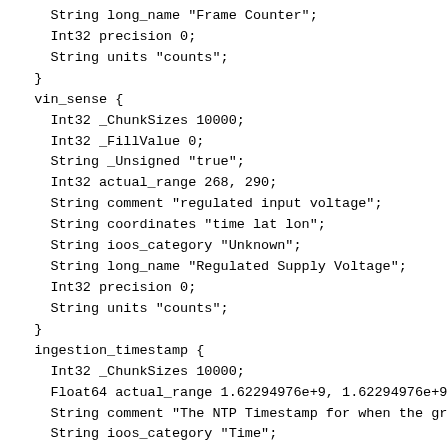String long_name "Frame Counter";
    Int32 precision 0;
    String units "counts";
  }
  vin_sense {
    Int32 _ChunkSizes 10000;
    Int32 _FillValue 0;
    String _Unsigned "true";
    Int32 actual_range 268, 290;
    String comment "regulated input voltage";
    String coordinates "time lat lon";
    String ioos_category "Unknown";
    String long_name "Regulated Supply Voltage";
    Int32 precision 0;
    String units "counts";
  }
  ingestion_timestamp {
    Int32 _ChunkSizes 10000;
    Float64 actual_range 1.62294976e+9, 1.62294976e+9;
    String comment "The NTP Timestamp for when the gra
    String ioos_category "Time";
    String long_name "Ingestion Timestamp, UTC";
    String time_origin "01-JAN-1970 00:00:00";
    String units "seconds since 1970-01-01T00:00:00Z";
  }
  latitude {